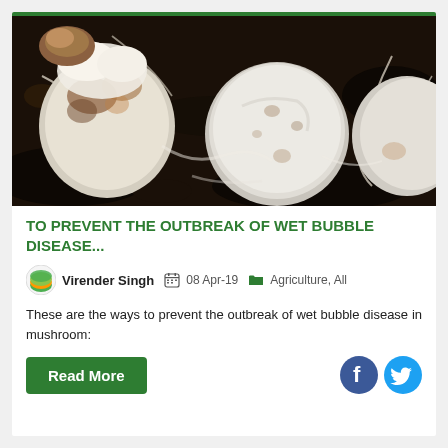[Figure (photo): Close-up photo of white mushroom balls (caps) growing in dark soil/substrate, affected by wet bubble disease. White fluffy mycelium visible around deformed mushrooms.]
TO PREVENT THE OUTBREAK OF WET BUBBLE DISEASE...
Virender Singh  08 Apr-19  Agriculture, All
These are the ways to prevent the outbreak of wet bubble disease in mushroom:
Read More